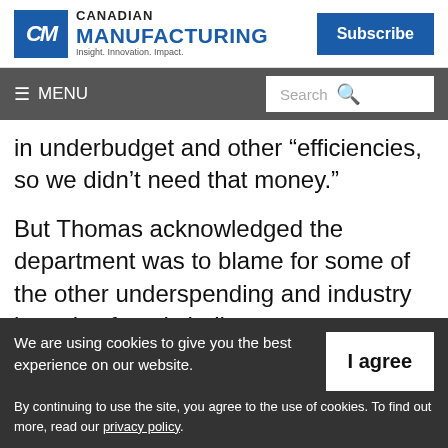Canadian Manufacturing | Insight. Innovation. Impact. | Subscribe
≡ MENU | Search
in underbudget and other “efficiencies, so we didn’t need that money.”
But Thomas acknowledged the department was to blame for some of the other underspending and industry has also faced chall...
We are using cookies to give you the best experience on our website.
By continuing to use the site, you agree to the use of cookies. To find out more, read our privacy policy.